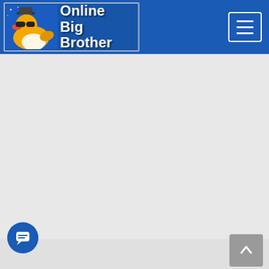Online Big Brother
[Figure (logo): Online Big Brother website logo with a rubber duck wearing sunglasses and a hat, with blue background and white text reading 'Online Big Brother']
170